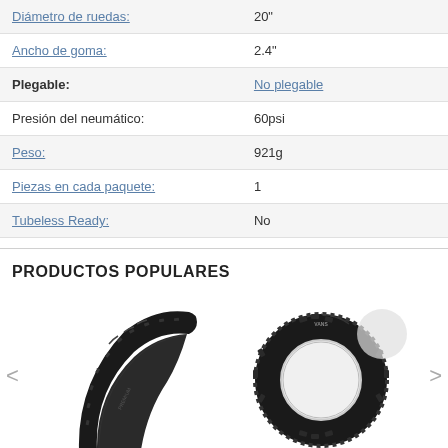| Attribute | Value |
| --- | --- |
| Diámetro de ruedas: | 20" |
| Ancho de goma: | 2.4" |
| Plegable: | No plegable |
| Presión del neumático: | 60psi |
| Peso: | 921g |
| Piezas en cada paquete: | 1 |
| Tubeless Ready: | No |
PRODUCTOS POPULARES
[Figure (photo): BMX tire shown in side/profile view, black tire with tread pattern visible]
[Figure (photo): BMX tire shown from the front (ring/donut view), black tire with tread, small logo visible at top]